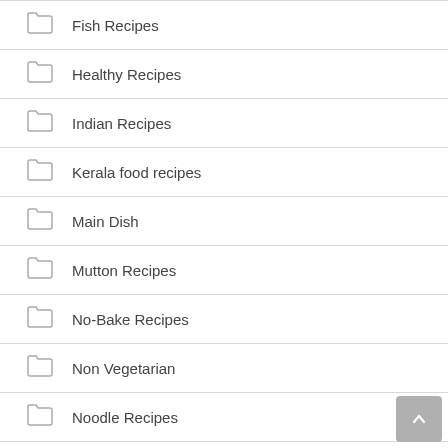Fish Recipes
Healthy Recipes
Indian Recipes
Kerala food recipes
Main Dish
Mutton Recipes
No-Bake Recipes
Non Vegetarian
Noodle Recipes
onam vishu sadhya